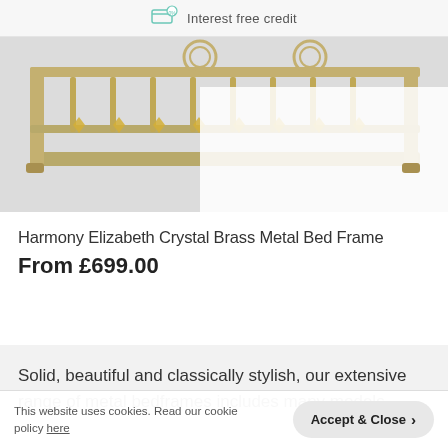Interest free credit
[Figure (photo): Close-up photo of a brass metal bed frame headboard with ornate crystal decorations and vertical bars, on a white background.]
Harmony Elizabeth Crystal Brass Metal Bed Frame
From £699.00
Solid, beautiful and classically stylish, our extensive range of metal bedframes includes many models
This website uses cookies. Read our cookie policy here
Accept & Close